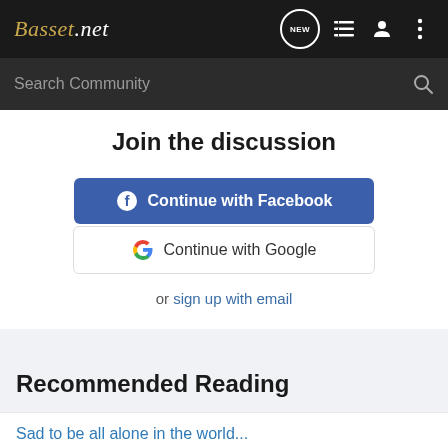Basset.net
Search Community
Join the discussion
Continue with Facebook
Continue with Google
or sign up with email
Recommended Reading
Sad to be all alone in the world...
General Basset Hound Discussion